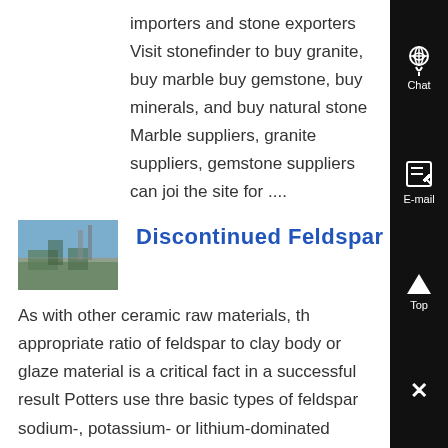importers and stone exporters Visit stonefinder to buy granite, buy marble buy gemstone, buy minerals, and buy natural stone Marble suppliers, granite suppliers, gemstone suppliers can join the site for ....
[Figure (photo): Thumbnail photo of a stone quarry or mining site with blue sky]
Discontinued Feldspar
As with other ceramic raw materials, the appropriate ratio of feldspar to clay body or glaze material is a critical factor in a successful result Potters use three basic types of feldspar sodium-, potassium- or lithium-dominated minerals combined with the additions of